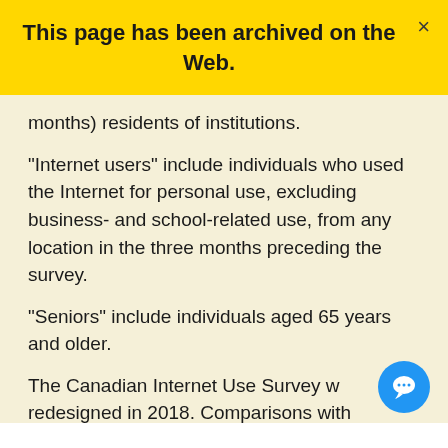This page has been archived on the Web.
months) residents of institutions.
"Internet users" include individuals who used the Internet for personal use, excluding business- and school-related use, from any location in the three months preceding the survey.
"Seniors" include individuals aged 65 years and older.
The Canadian Internet Use Survey was redesigned in 2018. Comparisons with